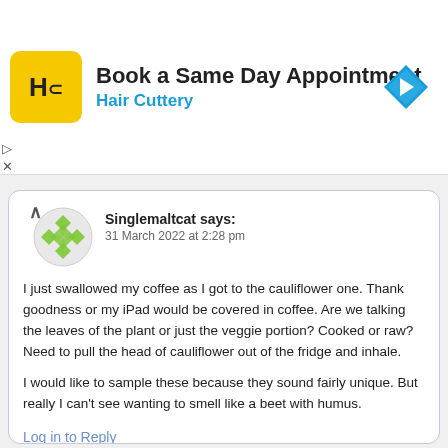[Figure (screenshot): Hair Cuttery advertisement banner with yellow HC logo, title 'Book a Same Day Appointment', subtitle 'Hair Cuttery', and a blue navigation arrow icon on the right]
Singlemaltcat says:
31 March 2022 at 2:28 pm
I just swallowed my coffee as I got to the cauliflower one. Thank goodness or my iPad would be covered in coffee. Are we talking the leaves of the plant or just the veggie portion? Cooked or raw? Need to pull the head of cauliflower out of the fridge and inhale.

I would like to sample these because they sound fairly unique. But really I can't see wanting to smell like a beet with humus.
Log in to Reply